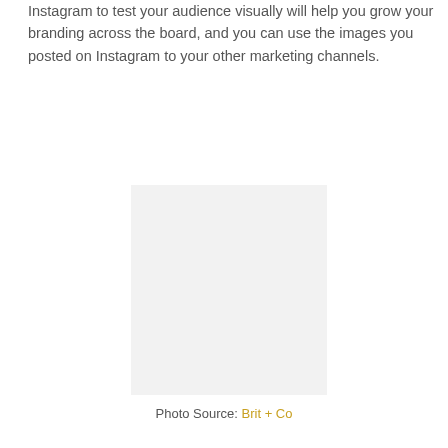Instagram to test your audience visually will help you grow your branding across the board, and you can use the images you posted on Instagram to your other marketing channels.
[Figure (photo): A placeholder image rectangle with light gray background, portrait orientation]
Photo Source: Brit + Co